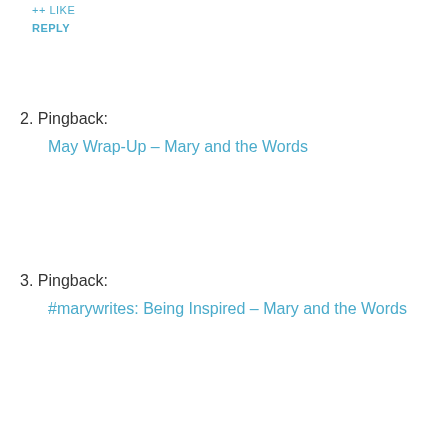++ Like
REPLY
2. Pingback:
May Wrap-Up – Mary and the Words
3. Pingback:
#marywrites: Being Inspired – Mary and the Words